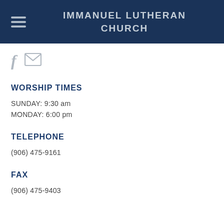IMMANUEL LUTHERAN CHURCH
[Figure (other): Social media icons: Facebook (f) and email (envelope)]
WORSHIP TIMES
SUNDAY: 9:30 am
MONDAY: 6:00 pm
TELEPHONE
(906) 475-9161
FAX
(906) 475-9403